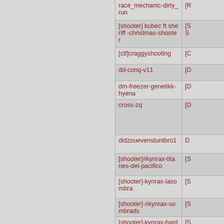| Map name | Details |
| --- | --- |
| race_mechanic-dirty_run | [R... |
| [shooter] kubec ft sheriff -christmas-shooter | [S S... |
| [ctf]craggyshooting | [C... |
| dd-conq-v11 | [D... |
| dm-freezer-genetikk-hyena | [D... |
| cross-zq | [D... |
| didzouevenstuntbro1 | D... |
| [shooter]#kynrax-titanes-del-pacifico | [S... |
| [shooter]-kynrax-lasombra | [S... |
| [shooter]-#kynrax-sombrads | [S... |
| [shooter]-kynrax-hardstyle-sex-uvc | [S... |
| skill-sanchez-race | [S... |
| [dm]sting3r_v1-the-start | [D... |
| race_mechanic-dirty_run_ii | [R... |
| dd-cross-185 | [D... |